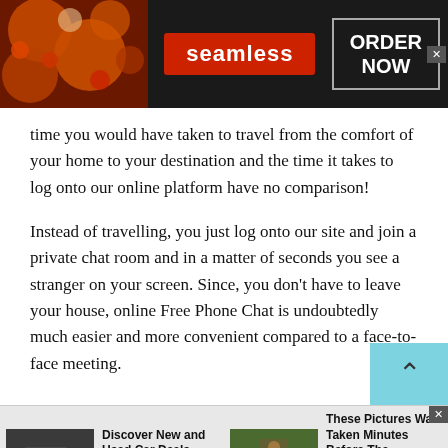[Figure (screenshot): Seamless food delivery advertisement banner with pizza image on left, red Seamless logo in center, and ORDER NOW button in white box on dark background]
time you would have taken to travel from the comfort of your home to your destination and the time it takes to log onto our online platform have no comparison!
Instead of travelling, you just log onto our site and join a private chat room and in a matter of seconds you see a stranger on your screen. Since, you don't have to leave your house, online Free Phone Chat is undoubtedly much easier and more convenient compared to a face-to-face meeting.
[Figure (screenshot): Bottom advertisement strip with two ad units: 'Discover New and Used Car Deals Near You' by CarDealsNear You, and 'These Pictures Was Taken Minutes Before The Beginning Of The Disaster!' by BillyNews]